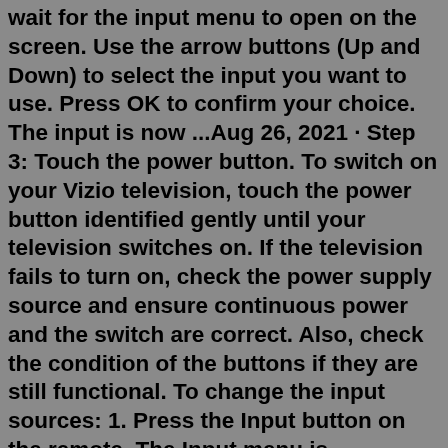wait for the input menu to open on the screen. Use the arrow buttons (Up and Down) to select the input you want to use. Press OK to confirm your choice. The input is now ...Aug 26, 2021 · Step 3: Touch the power button. To switch on your Vizio television, touch the power button identified gently until your television switches on. If the television fails to turn on, check the power supply source and ensure continuous power and the switch are correct. Also, check the condition of the buttons if they are still functional. To change the input sources: 1. Press the Input button on the remote. The Input menu is displayed. 2. Use the Right/Left Arrow buttons or the Input button on the remote to highlight the input you wish to view and press OK. The selected input is displayed. Input Name. Change Input. SMARTCAST WatchFree HDMI-1 HDMI-2 HDMI-3 HDMI-4 COMP TV. Note ...A Vizio TV may change input because 'Auto Detect' is on, it needs resetting, or the HDMI port is clogged. Ensure that any connected external device has compatible software and replace the HDMI cords